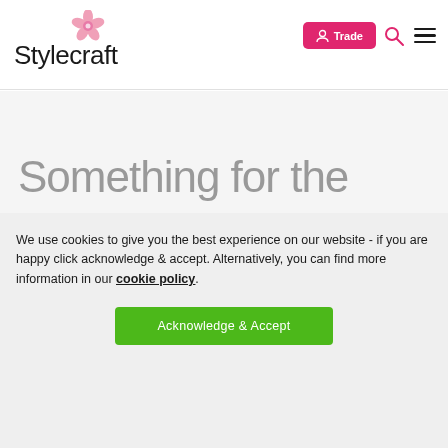Stylecraft — Trade | Search | Menu
Something for the
We use cookies to give you the best experience on our website - if you are happy click acknowledge & accept. Alternatively, you can find more information in our cookie policy.
Acknowledge & Accept